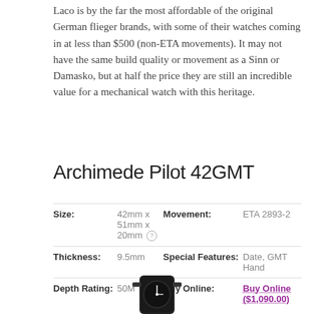Laco is by the far the most affordable of the original German flieger brands, with some of their watches coming in at less than $500 (non-ETA movements). It may not have the same build quality or movement as a Sinn or Damasko, but at half the price they are still an incredible value for a mechanical watch with this heritage.
Archimede Pilot 42GMT
| Label | Value | Label | Value |
| --- | --- | --- | --- |
| Size: | 42mm x 51mm x 20mm | Movement: | ETA 2893-2 |
| Thickness: | 9.5mm | Special Features: | Date, GMT Hand |
| Depth Rating: | 50M | Buy Online: | Buy Online ($1,090.00) |
[Figure (photo): Partial view of a watch face/strap at the bottom of the page]